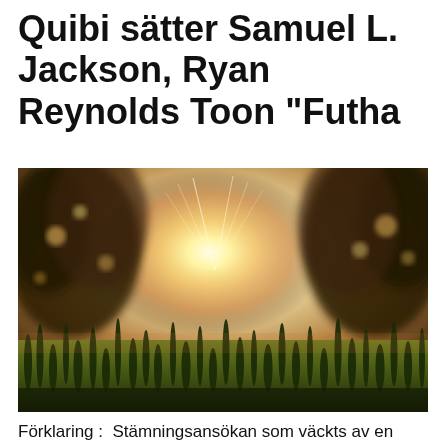Quibi sätter Samuel L. Jackson, Ryan Reynolds Toon "Futha
[Figure (photo): Outdoor nature photograph showing sunlight bursting through bokeh-blurred trees, with green grass in the foreground and a warm golden-hour glow.]
Förklaring :  Stämningsansökan som väckts av en